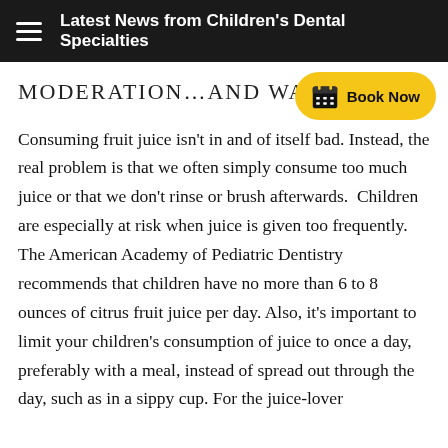Latest News from Children's Dental Specialties
MODERATION…AND WA
Consuming fruit juice isn't in and of itself bad. Instead, the real problem is that we often simply consume too much juice or that we don't rinse or brush afterwards.  Children are especially at risk when juice is given too frequently.  The American Academy of Pediatric Dentistry recommends that children have no more than 6 to 8 ounces of citrus fruit juice per day. Also, it's important to limit your children's consumption of juice to once a day, preferably with a meal, instead of spread out through the day, such as in a sippy cup. For the juice-lover